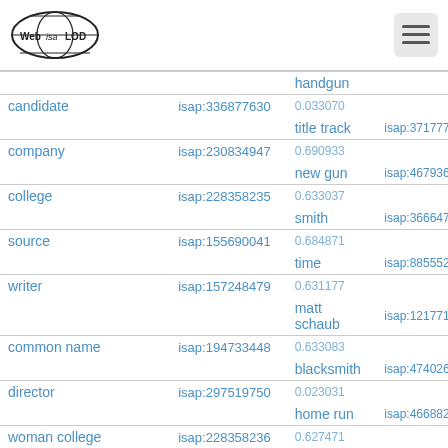WebIsaLOD
| term | isap code | related term | isap code 2 |
| --- | --- | --- | --- |
|  |  | handgun |  |
| candidate | isap:336877630 | 0.033070 |  |
|  |  | title track | isap:371777749 |
| company | isap:230834947 | 0.690933 |  |
|  |  | new gun | isap:467936930 |
| college | isap:228358235 | 0.633037 |  |
|  |  | smith | isap:366647537 |
| source | isap:155690041 | 0.684871 |  |
|  |  | time | isap:88555209 |
| writer | isap:157248479 | 0.631177 |  |
|  |  | matt schaub | isap:121771463 |
| common name | isap:194733448 | 0.633083 |  |
|  |  | blacksmith | isap:474026443 |
| director | isap:297519750 | 0.023031 |  |
|  |  | home run | isap:466882409 |
| woman college | isap:228358236 | 0.627471 |  |
|  |  | reputation | isap:472958359 |
| artist | isap:160784353 | 0.023010 |  |
|  |  | amy | isap:466181006 |
| place | isap:369930974 | 0.614202 |  |
|  |  | son | isap:470100617 |
| producer | isap:395357102 |  |  |